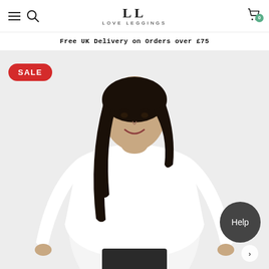LL LOVE LEGGINGS
Free UK Delivery on Orders over £75
[Figure (photo): Woman wearing a white long-sleeve top and dark trousers, photographed against a light grey background. A red SALE badge is overlaid in the top-left corner. A dark grey 'Help' button appears in the bottom-right.]